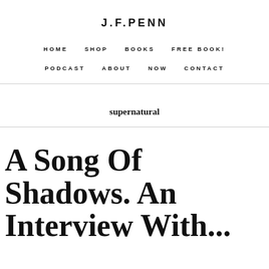J.F.PENN
HOME   SHOP   BOOKS   FREE BOOK!
PODCAST   ABOUT   NOW   CONTACT
supernatural
A Song Of Shadows. An Interview With...